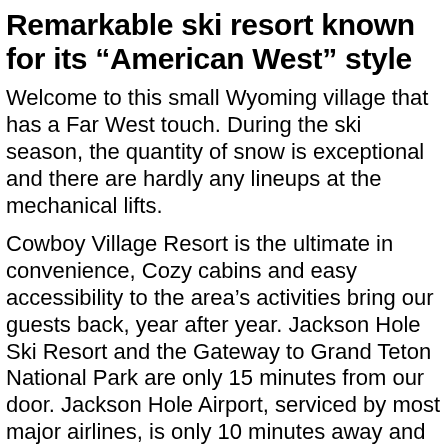Remarkable ski resort known for its “American West” style
Welcome to this small Wyoming village that has a Far West touch. During the ski season, the quantity of snow is exceptional and there are hardly any lineups at the mechanical lifts.
Cowboy Village Resort is the ultimate in convenience, Cozy cabins and easy accessibility to the area’s activities bring our guests back, year after year. Jackson Hole Ski Resort and the Gateway to Grand Teton National Park are only 15 minutes from our door. Jackson Hole Airport, serviced by most major airlines, is only 10 minutes away and Yellowstone National Park is a spectacular hour’s drive along the Teton Range. Join us at the Cowboy Village Resort!